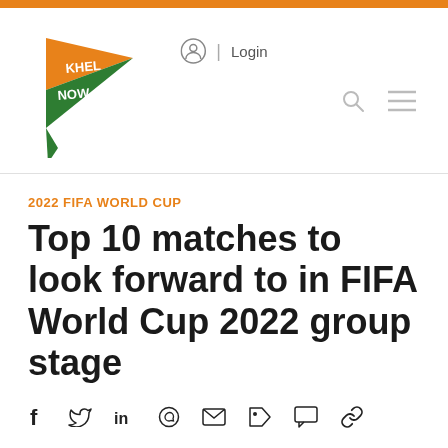[Figure (logo): KhelNow pennant logo with orange and green colors, stylized flag shape with text KHEL NOW]
Login
2022 FIFA WORLD CUP
Top 10 matches to look forward to in FIFA World Cup 2022 group stage
[Figure (infographic): Social sharing icons: Facebook, Twitter, LinkedIn, WhatsApp, Email, Tag, Comment, Link]